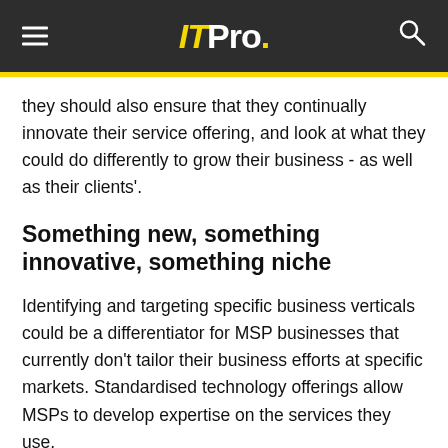ITPro.
they should also ensure that they continually innovate their service offering, and look at what they could do differently to grow their business - as well as their clients'.
Something new, something innovative, something niche
Identifying and targeting specific business verticals could be a differentiator for MSP businesses that currently don't tailor their business efforts at specific markets. Standardised technology offerings allow MSPs to develop expertise on the services they use,